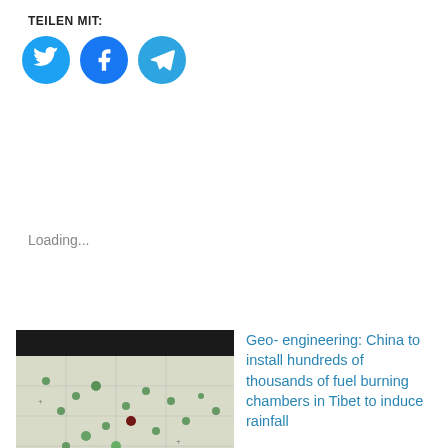TEILEN MIT:
[Figure (other): Three circular social media share buttons: Twitter (blue), Facebook (blue), Telegram (light blue)]
Loading...
[Figure (screenshot): Map image with dark header and footer bars, showing 'The Mighty Miss' caption overlay, depicting Mississippi River region with green dots]
Images show Mighty Mississippi River going dry! – NEW Tropical Storms (video)
Geo- engineering: China to install hundreds of thousands of fuel burning chambers in Tibet to induce rainfall
Friends of Tibet  March 28th, 2018 South China Morning Post, March 26, 2018 – China is testing cutting-edge defence 18. April 2018